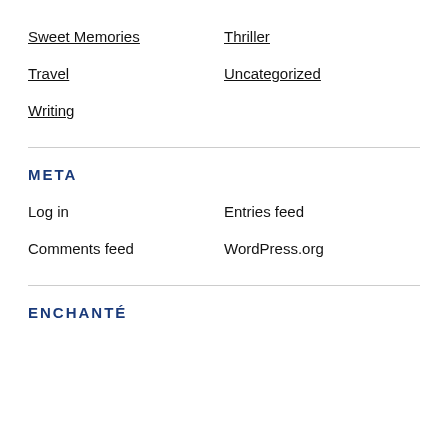Sweet Memories
Thriller
Travel
Uncategorized
Writing
META
Log in
Entries feed
Comments feed
WordPress.org
ENCHANTÉ